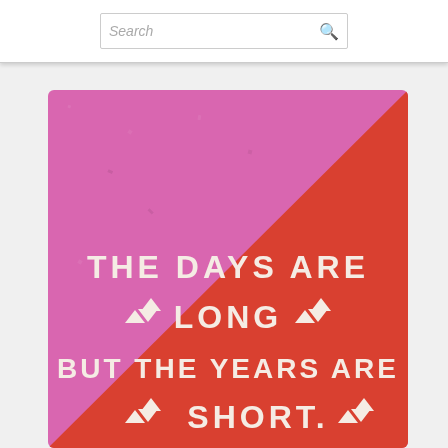Search
[Figure (illustration): Colorful motivational quote card with pink and red-orange diagonal split background. White decorative text reads: THE DAYS ARE LONG BUT THE YEARS ARE SHORT. with small triangle decorative elements.]